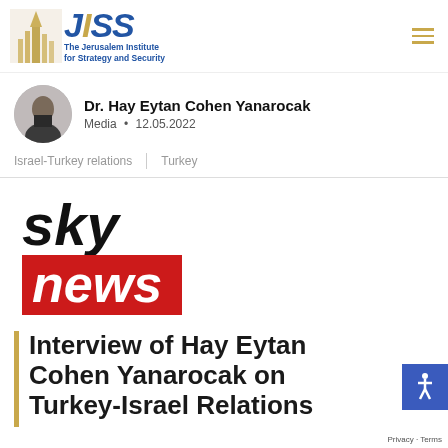JISS – The Jerusalem Institute for Strategy and Security
Dr. Hay Eytan Cohen Yanarocak
Media • 12.05.2022
Israel-Turkey relations | Turkey
[Figure (logo): Sky News logo: the word 'sky' in black italic bold, and 'news' in white bold italic on a red rectangle background]
Interview of Hay Eytan Cohen Yanarocak on Turkey-Israel Relations